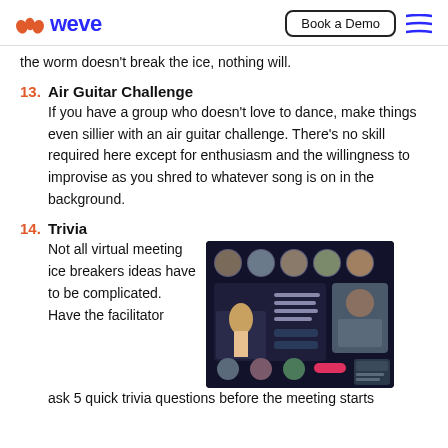Weve — Book a Demo
the worm doesn't break the ice, nothing will.
13. Air Guitar Challenge — If you have a group who doesn't love to dance, make things even sillier with an air guitar challenge. There's no skill required here except for enthusiasm and the willingness to improvise as you shred to whatever song is on in the background.
14. Trivia — Not all virtual meeting ice breakers ideas have to be complicated. Have the facilitator ask 5 quick trivia questions before the meeting starts
[Figure (screenshot): Screenshot of a virtual trivia game interface showing participant video thumbnails at the top, a trivia question about a basketball Hall of Fame inductee, and a presenter video on the right side, all on a dark background.]